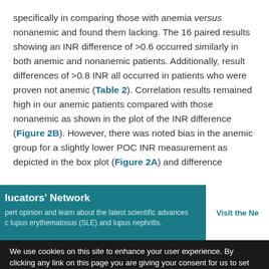specifically in comparing those with anemia versus nonanemic and found them lacking. The 16 paired results showing an INR difference of >0.6 occurred similarly in both anemic and nonanemic patients. Additionally, result differences of >0.8 INR all occurred in patients who were proven not anemic (Table 2). Correlation results remained high in our anemic patients compared with those nonanemic as shown in the plot of the INR difference (Figure 2B). However, there was noted bias in the anemic group for a slightly lower POC INR measurement as depicted in the box plot (Figure 2A) and difference
lucators' Network
pert opinion and learn about the latest scientific advances c lupus erythematosus (SLE) and lupus nephritis.
We use cookies on this site to enhance your user experience. By clicking any link on this page you are giving your consent for us to set cookies.